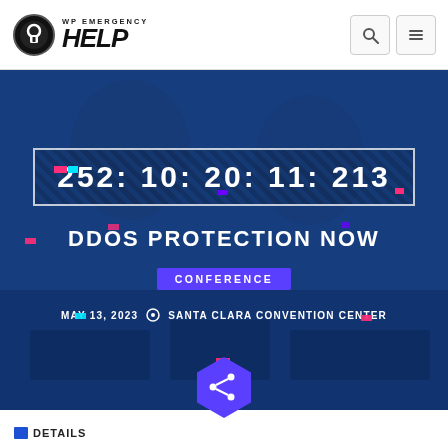[Figure (logo): WP Emergency Help logo with padlock icon and bold italic HELP text]
[Figure (screenshot): Conference hero banner with dark blue overlay over office meeting photo, showing countdown timer 252:10:20:11:213, DDOS PROTECTION NOW title, CONFERENCE badge, MAY 13, 2023 date, and SANTA CLARA CONVENTION CENTER location with glitch effect decorations]
252: 10: 20: 11: 213
DDOS PROTECTION NOW
CONFERENCE
MAY 13, 2023  ⊙  SANTA CLARA CONVENTION CENTER
DETAILS